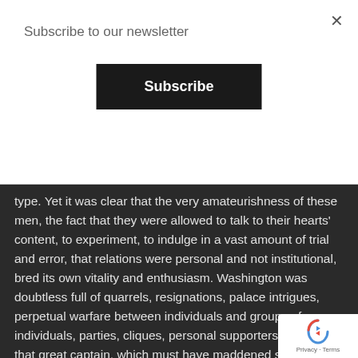Subscribe to our newsletter
Subscribe
type. Yet it was clear that the very amateurishness of these men, the fact that they were allowed to talk to their hearts' content, to experiment, to indulge in a vast amount of trial and error, that relations were personal and not institutional, bred its own vitality and enthusiasm. Washington was doubtless full of quarrels, resignations, palace intrigues, perpetual warfare between individuals and groups of individuals, parties, cliques, personal supporters of this or that great captain, which must have maddened sober and responsible officials used to the slower tempo and more normal patterns of administration; as for bankers and business men, their feelings were past describing, but at this period they were little regarded, since they were consider have discredited themselves too deeply, and indeed forev